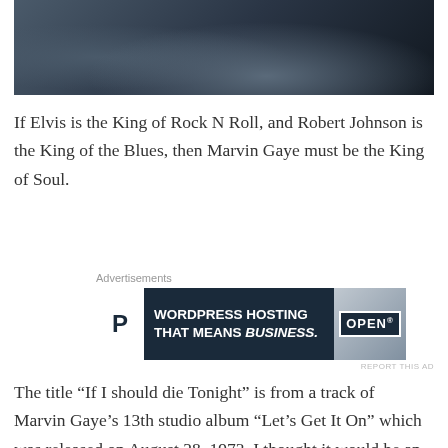[Figure (photo): Close-up black and white / blue-toned photo, dark and moody, showing fabric or clothing folds in the upper portion of the page.]
If Elvis is the King of Rock N Roll, and Robert Johnson is the King of the Blues, then Marvin Gaye must be the King of Soul.
Advertisements
[Figure (other): Advertisement banner: WordPress hosting with Pressable logo on left, text 'WORDPRESS HOSTING THAT MEANS BUSINESS.' in white on dark navy background, and an OPEN sign image on the right.]
REPORT THIS AD
The title “If I should die Tonight” is from a track of Marvin Gaye’s 13th studio album “Let’s Get It On” which was released on August 28, 1973. I thought it would be an appropriate title because today marks the 37th anniversary of his death.